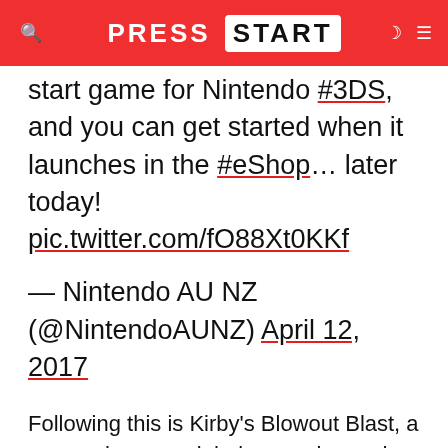PRESS START
start game for Nintendo #3DS, and you can get started when it launches in the #eShop... later today! pic.twitter.com/fO88Xt0KKf
— Nintendo AU NZ (@NintendoAUNZ) April 12, 2017
Following this is Kirby's Blowout Blast, a game where you inhale enemies and chain attacks for high scores. Another eShop only release, look for this title later this Winter.